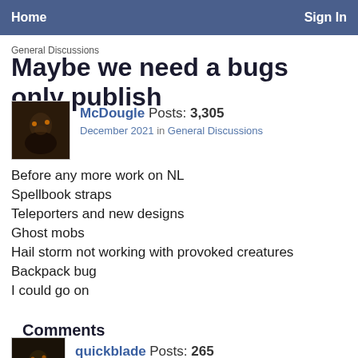Home    Sign In
General Discussions
Maybe we need a bugs only publish
McDougle  Posts: 3,305
December 2021  in General Discussions
Before any more work on NL
Spellbook straps
Teleporters and new designs
Ghost mobs
Hail storm not working with provoked creatures
Backpack bug
I could go on
Comments
quickblade  Posts: 265